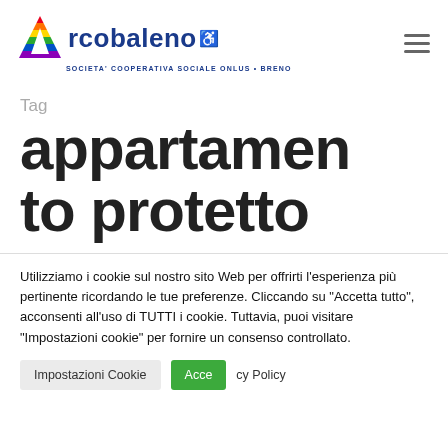[Figure (logo): Arcobaleno rainbow logo - multicolored arc/A shape with wheelchair accessibility symbol, text 'Arcobaleno' in blue, subtitle 'SOCIETA' COOPERATIVA SOCIALE ONLUS • BRENO']
Tag
appartamento protetto
Utilizziamo i cookie sul nostro sito Web per offrirti l'esperienza più pertinente ricordando le tue preferenze. Cliccando su "Accetta tutto", acconsenti all'uso di TUTTI i cookie. Tuttavia, puoi visitare "Impostazioni cookie" per fornire un consenso controllato.
Impostazioni Cookie   Acce...   ...cy Policy